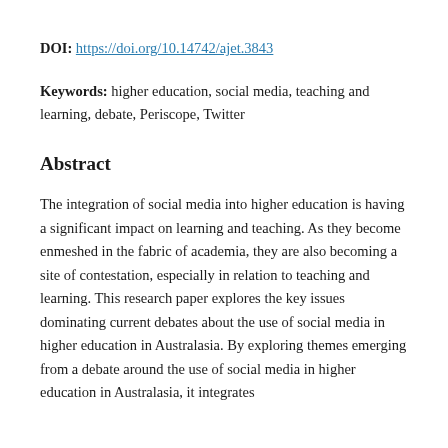DOI: https://doi.org/10.14742/ajet.3843
Keywords: higher education, social media, teaching and learning, debate, Periscope, Twitter
Abstract
The integration of social media into higher education is having a significant impact on learning and teaching. As they become enmeshed in the fabric of academia, they are also becoming a site of contestation, especially in relation to teaching and learning. This research paper explores the key issues dominating current debates about the use of social media in higher education in Australasia. By exploring themes emerging from a debate around the use of social media in higher education in Australasia, it integrates